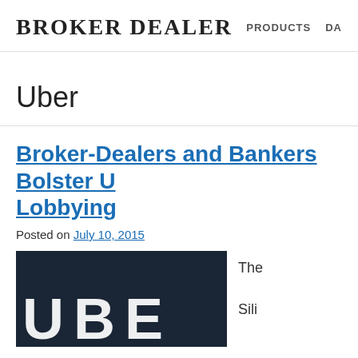BROKER DEALER   PRODUCTS   DA
Uber
Broker-Dealers and Bankers Bolster U Lobbying
Posted on July 10, 2015
[Figure (photo): Dark background with white letters spelling UBER, a photo of the Uber logo sign]
The Sili